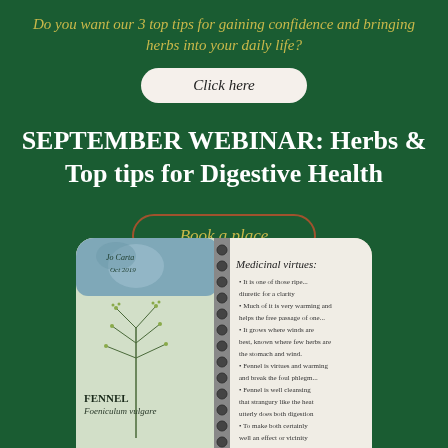Do you want our 3 top tips for gaining confidence and bringing herbs into your daily life?
Click here
SEPTEMBER WEBINAR: Herbs & Top tips for Digestive Health
Book a place
[Figure (photo): Open herbal notebook showing a page about Fennel (Foeniculum vulgare) with botanical illustration and Medicinal virtues text on the right page, with a decorative watercolour header at the top.]